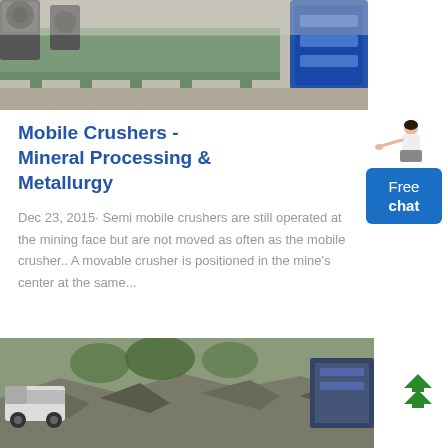[Figure (photo): Industrial conveyor or machinery in a factory/mining setting, showing green metal frames and a blue motor unit]
Mobile Crushers - Mineral Processing & Metallurgy
Dec 23, 2015· Semi mobile crushers are still operated at the mining face but are not moved as often as the mobile crusher.. A movable crusher is positioned in the mine's center at the same...
[Figure (photo): Outdoor mining or quarrying scene showing trucks and crushed rock/stone material]